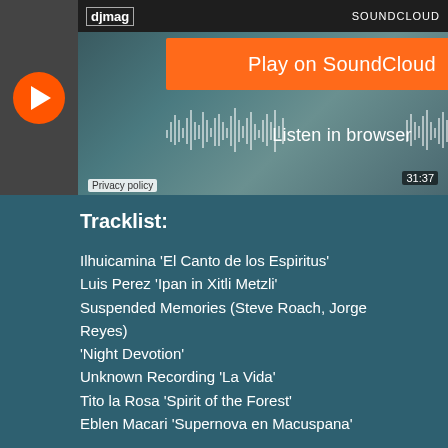[Figure (screenshot): SoundCloud embedded player showing 'Play on SoundCloud' orange button, 'Listen in browser' text over waveform, djmag branding, SOUNDCLOUD label, timer showing 31:37, and Privacy policy link. Background shows a person image.]
Tracklist:
Ilhuicamina 'El Canto de los Espiritus'
Luis Perez 'Ipan in Xitli Metzli'
Suspended Memories (Steve Roach, Jorge Reyes) 'Night Devotion'
Unknown Recording 'La Vida'
Tito la Rosa 'Spirit of the Forest'
Eblen Macari 'Supernova en Macuspana'